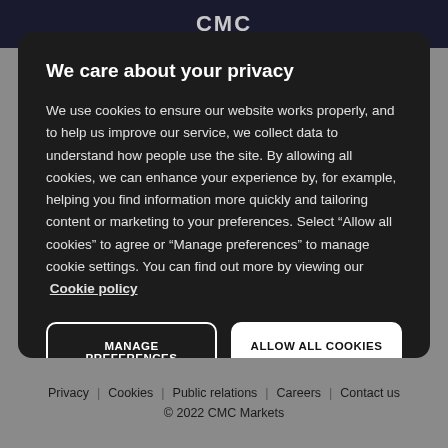We care about your privacy
We use cookies to ensure our website works properly, and to help us improve our service, we collect data to understand how people use the site. By allowing all cookies, we can enhance your experience by, for example, helping you find information more quickly and tailoring content or marketing to your preferences. Select “Allow all cookies” to agree or “Manage preferences” to manage cookie settings. You can find out more by viewing our Cookie policy
MANAGE PREFERENCES
ALLOW ALL COOKIES
Privacy | Cookies | Public relations | Careers | Contact us
© 2022 CMC Markets